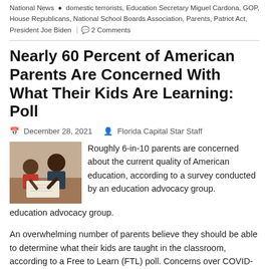National News • domestic terrorists, Education Secretary Miguel Cardona, GOP, House Republicans, National School Boards Association, Parents, Patriot Act, President Joe Biden | 2 Comments
Nearly 60 Percent of American Parents Are Concerned With What Their Kids Are Learning: Poll
December 28, 2021   Florida Capital Star Staff
[Figure (photo): Photo of two people, an adult and a child, studying or working together at a table]
Roughly 6-in-10 parents are concerned about the current quality of American education, according to a survey conducted by an education advocacy group.
An overwhelming number of parents believe they should be able to determine what their kids are taught in the classroom, according to a Free to Learn (FTL) poll. Concerns over COVID-19 mitigation measures, Critical Race Theory (CRT), gender ideology and virtual learning have been on the rise since the start of the pandemic.